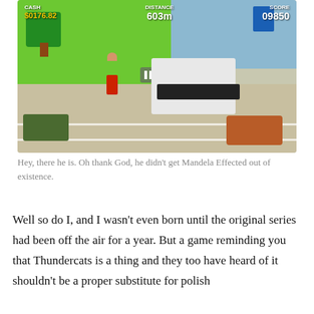[Figure (screenshot): Mobile game screenshot showing a blocky/voxel-style game with HUD displaying CASH $0176.82, DISTANCE 603m, SCORE 09850. Scene shows a character on a road with vehicles including a large white military-style vehicle and brown car, green trees, and blue objects.]
Hey, there he is. Oh thank God, he didn't get Mandela Effected out of existence.
Well so do I, and I wasn't even born until the original series had been off the air for a year. But a game reminding you that Thundercats is a thing and they too have heard of it shouldn't be a proper substitute for polish